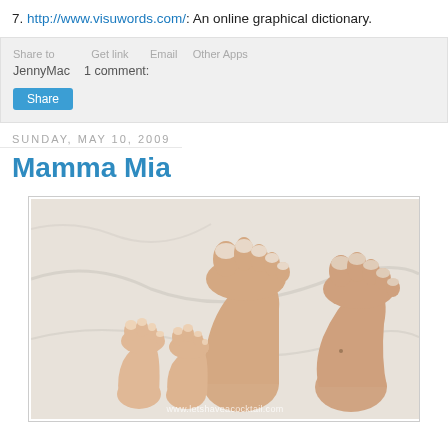7. http://www.visuwords.com/: An online graphical dictionary.
JennyMac   1 comment:
Share
Sunday, May 10, 2009
Mamma Mia
[Figure (photo): Photo of two pairs of feet (adult and child) resting on white sheets, with watermark www.letshaveacocktail.com]